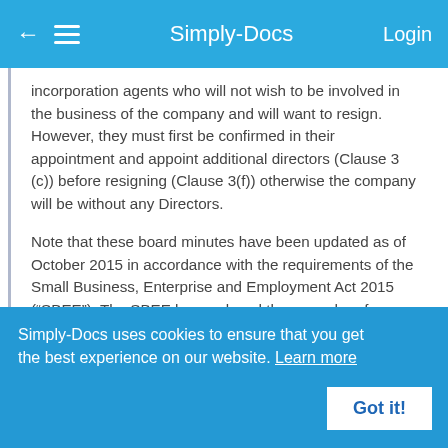Simply-Docs
incorporation agents who will not wish to be involved in the business of the company and will want to resign. However, they must first be confirmed in their appointment and appoint additional directors (Clause 3 (c)) before resigning (Clause 3(f)) otherwise the company will be without any Directors.
Note that these board minutes have been updated as of October 2015 in accordance with the requirements of the Small Business, Enterprise and Employment Act 2015 (“SBEE”). The SBEE has replaced the procedure for verifying the appointment of all directors by obliging the appointing company to make a statement confirming that the appointees have consented to act as directors. The Registrar
Simply-Docs uses cookies to ensure that you get the best experience on our website. Learn more